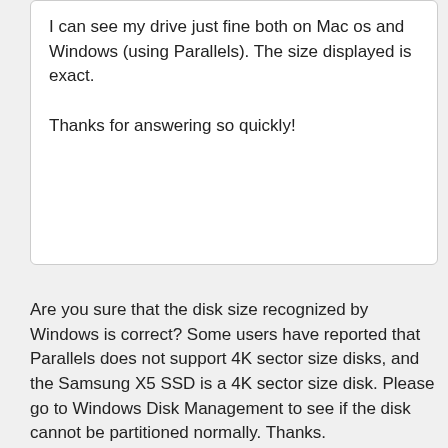I can see my drive just fine both on Mac os and Windows (using Parallels). The size displayed is exact.

Thanks for answering so quickly!
Are you sure that the disk size recognized by Windows is correct? Some users have reported that Parallels does not support 4K sector size disks, and the Samsung X5 SSD is a 4K sector size disk. Please go to Windows Disk Management to see if the disk cannot be partitioned normally. Thanks.
Free Data Recovery & Windows To Go Creator & UEFI Boot Manager & Windows Deployment Tool & BitLocker For Windows Home
Hasleo Software